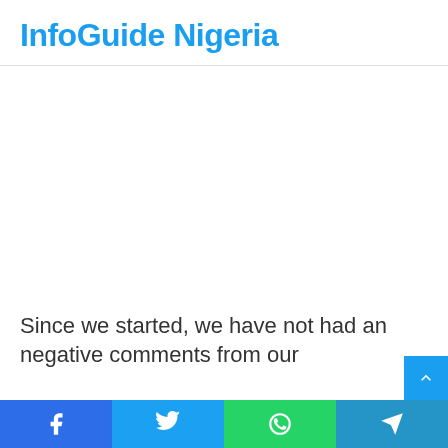InfoGuide Nigeria
[Figure (other): Advertisement/blank white area]
Since we started, we have not had any negative comments from our